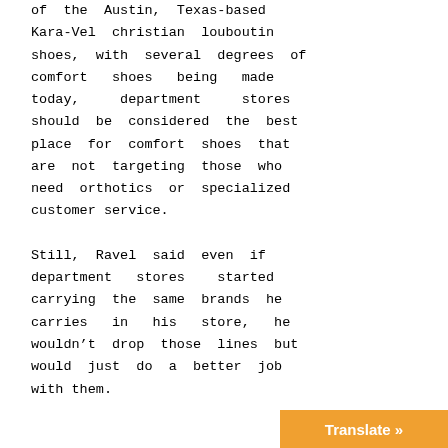of the Austin, Texas-based Kara-Vel christian louboutin shoes, with several degrees of comfort shoes being made today, department stores should be considered the best place for comfort shoes that are not targeting those who need orthotics or specialized customer service.

Still, Ravel said even if department stores started carrying the same brands he carries in his store, he wouldn't drop those lines but would just do a better job with them.
Translate »